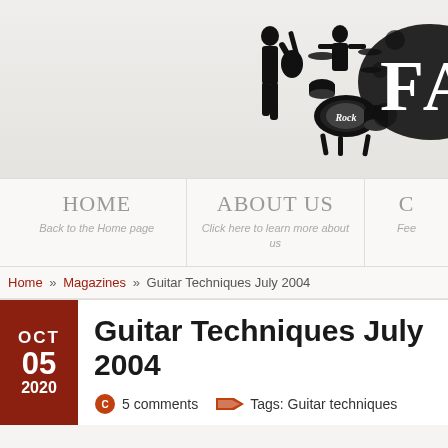[Figure (illustration): Website header with silhouette of guitarist, drum kit with 'Rock' label, and partial text 'FAS' in grunge/blackletter style on light gray gradient background]
HOME | Back to the Home page   ABOUT US | Click here to learn more about us   C | Fee...
Home » Magazines » Guitar Techniques July 2004
Guitar Techniques July 2004
5 comments   Tags: Guitar techniques